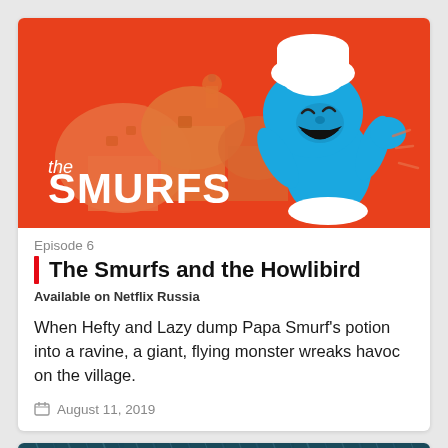[Figure (illustration): The Smurfs animated show banner image: red background with orange mushroom houses on the left, a blue Smurf character on the right laughing and running, with 'the Smurfs' logo in white text at the bottom left.]
Episode 6
The Smurfs and the Howlibird
Available on Netflix Russia
When Hefty and Lazy dump Papa Smurf's potion into a ravine, a giant, flying monster wreaks havoc on the village.
August 11, 2019
[Figure (photo): Partial bottom image showing a dark blue-green rainy or watery scene, cropped at the bottom of the page.]